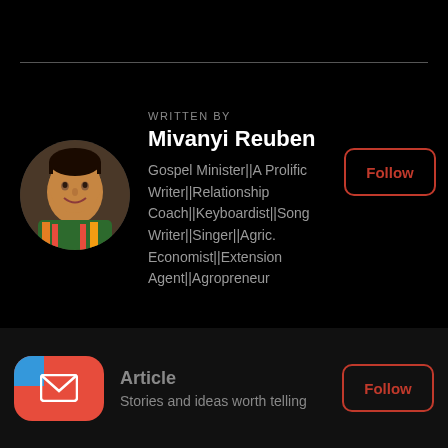WRITTEN BY
Mivanyi Reuben
Gospel Minister||A Prolific Writer||Relationship Coach||Keyboardist||Song Writer||Singer||Agric. Economist||Extension Agent||Agropreneur
[Figure (photo): Circular profile photo of a man wearing a colorful patterned shirt, smiling]
Follow
[Figure (logo): Red rounded rectangle button with a white envelope/mail icon and a blue corner]
Article
Stories and ideas worth telling
Follow